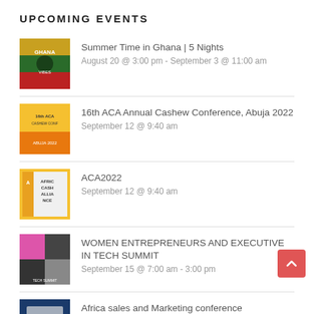UPCOMING EVENTS
Summer Time in Ghana | 5 Nights
August 20 @ 3:00 pm - September 3 @ 11:00 am
16th ACA Annual Cashew Conference, Abuja 2022
September 12 @ 9:40 am
ACA2022
September 12 @ 9:40 am
WOMEN ENTREPRENEURS AND EXECUTIVE IN TECH SUMMIT
September 15 @ 7:00 am - 3:00 pm
Africa sales and Marketing conference
September 15 @ 9:00 am
PAST EVENTS